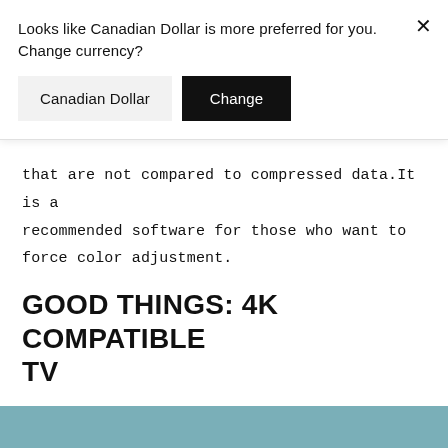Looks like Canadian Dollar is more preferred for you. Change currency?
Canadian Dollar
Change
that are not compared to compressed data.It is a recommended software for those who want to force color adjustment.
GOOD THINGS: 4K COMPATIBLE TV
[Figure (photo): Partial view of a TV or monitor screen with a blue/teal toned image at the bottom of the page]